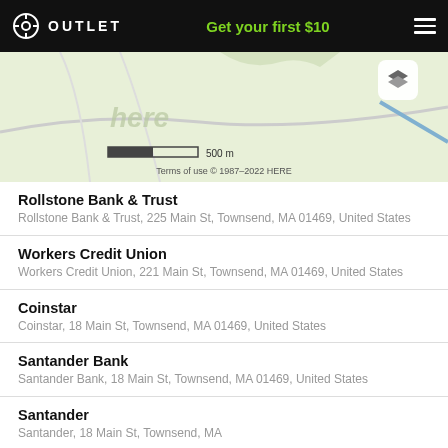OUTLET  Get your first $10
[Figure (map): Map showing area near Townsend, MA with scale bar (500 m) and HERE copyright 1987-2022]
Rollstone Bank & Trust
Rollstone Bank & Trust, 225 Main St, Townsend, MA 01469, United States
Workers Credit Union
Workers Credit Union, 221 Main St, Townsend, MA 01469, United States
Coinstar
Coinstar, 18 Main St, Townsend, MA 01469, United States
Santander Bank
Santander Bank, 18 Main St, Townsend, MA 01469, United States
Santander
Santander, 18 Main St, Townsend, MA